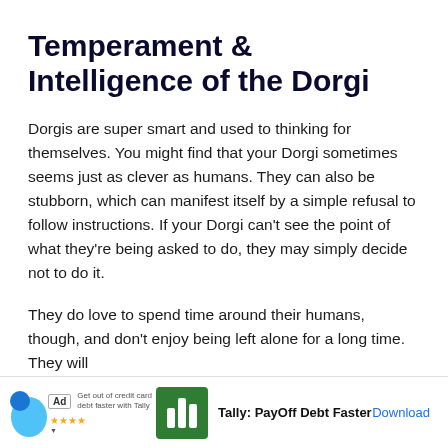Temperament & Intelligence of the Dorgi
Dorgis are super smart and used to thinking for themselves. You might find that your Dorgi sometimes seems just as clever as humans. They can also be stubborn, which can manifest itself by a simple refusal to follow instructions. If your Dorgi can't see the point of what they're being asked to do, they may simply decide not to do it.
They do love to spend time around their humans, though, and don't enjoy being left alone for a long time. They will enjoy thi... for plenty o... all
[Figure (infographic): Advertisement banner: Tally PayOff Debt Faster app ad with blue blob graphic, green Tally logo icon with three bars, and Download link]